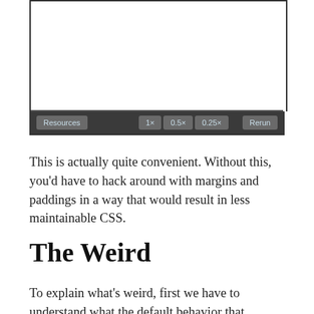[Figure (screenshot): Browser-like UI frame showing a white content area with a dark toolbar at the bottom containing buttons: Resources, 1×, 0.5×, 0.25×, and Rerun]
This is actually quite convenient. Without this, you'd have to hack around with margins and paddings in a way that would result in less maintainable CSS.
The Weird
To explain what's weird, first we have to understand what the default behavior that